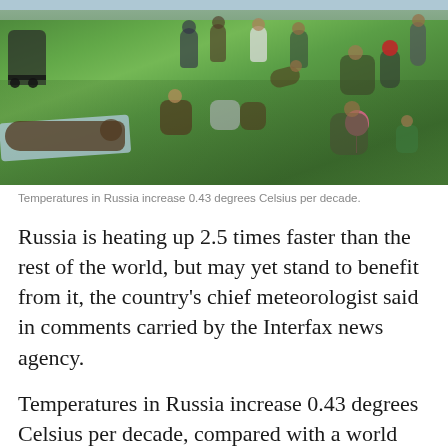[Figure (photo): Outdoor scene with many people relaxing on a green grass lawn in a park, with trees and buildings visible in the background. People are sitting, lying down, and walking on bright green grass on a warm day.]
Temperatures in Russia increase 0.43 degrees Celsius per decade.
Russia is heating up 2.5 times faster than the rest of the world, but may yet stand to benefit from it, the country's chief meteorologist said in comments carried by the Interfax news agency.
Temperatures in Russia increase 0.43 degrees Celsius per decade, compared with a world average of 0.17 degrees, said Federal Meteorological Service head Alexander Frolov...